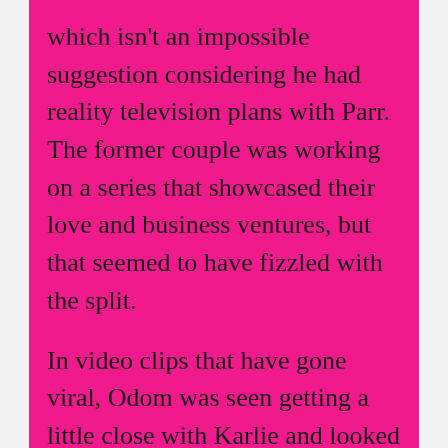which isn't an impossible suggestion considering he had reality television plans with Parr. The former couple was working on a series that showcased their love and business ventures, but that seemed to have fizzled with the split.
In video clips that have gone viral, Odom was seen getting a little close with Karlie and looked to be partying with a few of her L&HH co-stars. It would be interesting to see how Odom incorporates himself into the reality television world once again,